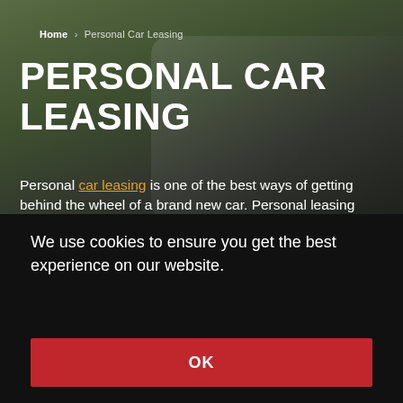Home > Personal Car Leasing
PERSONAL CAR LEASING
Personal car leasing is one of the best ways of getting behind the wheel of a brand new car. Personal leasing allows you to rent a car from a leasing company for an agreed term, with fixed monthly payments. It's one of the most accessible ways for you to drive your ideal brand new car and in the end, you don't have the
We use cookies to ensure you get the best experience on our website.
Learn more
OK